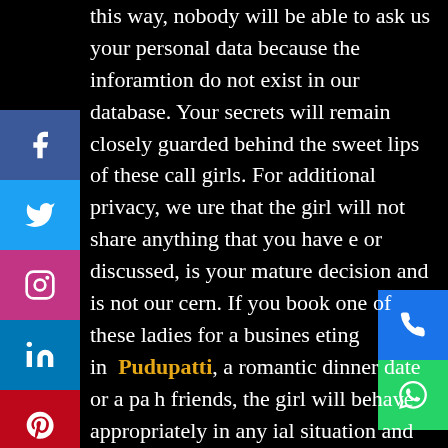this way, nobody will be able to ask us your personal data because the inforamtion do not exist in our database. Your secrets will remain closely guarded behind the sweet lips of these call girls. For additional privacy, we ure that the girl will not share anything that you have e or discussed, is your mature decision and is not our cern. If you book one of these ladies for a business eting in Pudupatti, a romantic dinner date or a pa h friends, the girl will behave appropriately in any ial situation and will not reveal that she is an call s. The lady will always show that she is your new business assistant or your girlfriend. Also, all these female companions will arrive at your place in the strictest confidence, without atract public attention. All the girls were personally checked to ensure that they can